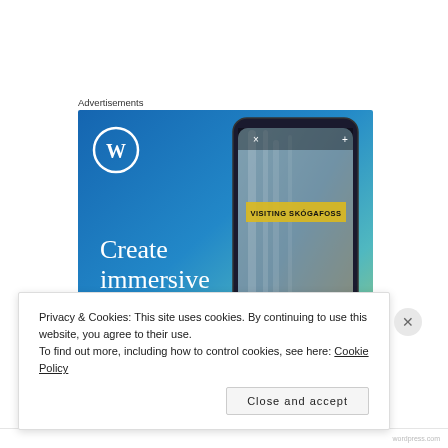Advertisements
[Figure (illustration): WordPress advertisement banner with blue-to-green gradient background, WordPress logo (W in circle), large white serif text 'Create immersive stories.', and a phone mockup showing a waterfall photo with 'VISITING SKÓGAFOSS' label overlay.]
Privacy & Cookies: This site uses cookies. By continuing to use this website, you agree to their use.
To find out more, including how to control cookies, see here: Cookie Policy
Close and accept